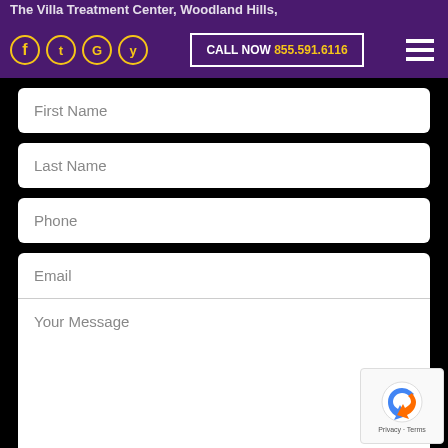The Villa Treatment Center, Woodland Hills, CA — CALL NOW 855.591.6116
First Name
Last Name
Phone
Email
Your Message